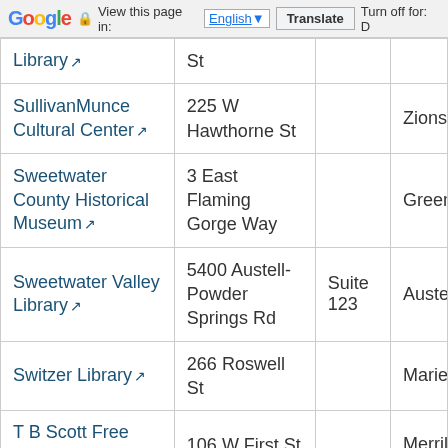Google  View this page in: English [▼]  Translate  Turn off for: D
| Name | Address | Suite | City |
| --- | --- | --- | --- |
| Library | St |  |  |
| SullivanMunce Cultural Center | 225 W Hawthorne St |  | Zionsv |
| Sweetwater County Historical Museum | 3 East Flaming Gorge Way |  | Green |
| Sweetwater Valley Library | 5400 Austell-Powder Springs Rd | Suite 123 | Austell |
| Switzer Library | 266 Roswell St |  | Mariett |
| T B Scott Free Library | 106 W First St |  | Merrill |
| Taylor Ranch Library | 5700 Bogart St NW |  | Albuqu |